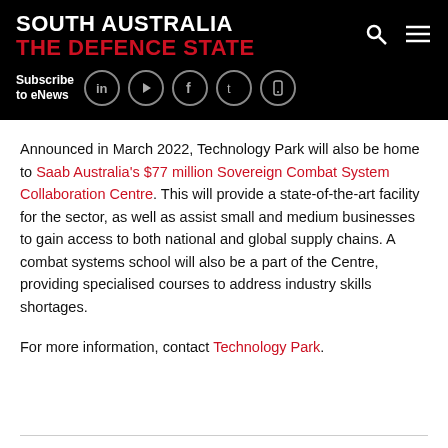SOUTH AUSTRALIA THE DEFENCE STATE
Announced in March 2022, Technology Park will also be home to Saab Australia's $77 million Sovereign Combat System Collaboration Centre. This will provide a state-of-the-art facility for the sector, as well as assist small and medium businesses to gain access to both national and global supply chains. A combat systems school will also be a part of the Centre, providing specialised courses to address industry skills shortages.
For more information, contact Technology Park.